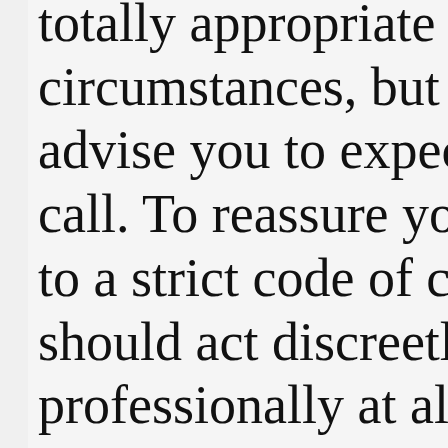totally appropriate to your circumstances, but which advise you to expect an official call. To reassure you, officers adhere to a strict code of conduct and should act discreetly and professionally at all times. They will always identify themselves and will offer you a telephone number if you wish to check their identity.